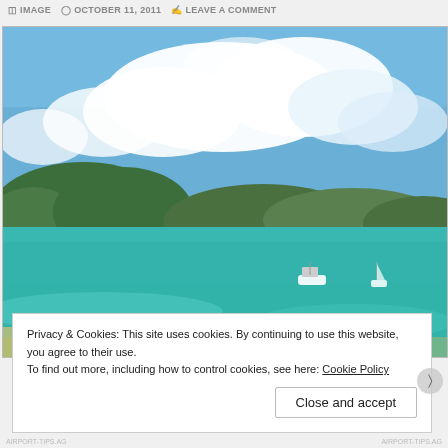IMAGE   OCTOBER 11, 2011   LEAVE A COMMENT
[Figure (photo): Tropical island bay scene with turquoise water, two boats anchored in calm water, green hilly islands in the background, large white clouds against a blue sky, and a sandy beach in the foreground.]
Privacy & Cookies: This site uses cookies. By continuing to use this website, you agree to their use.
To find out more, including how to control cookies, see here: Cookie Policy
Close and accept